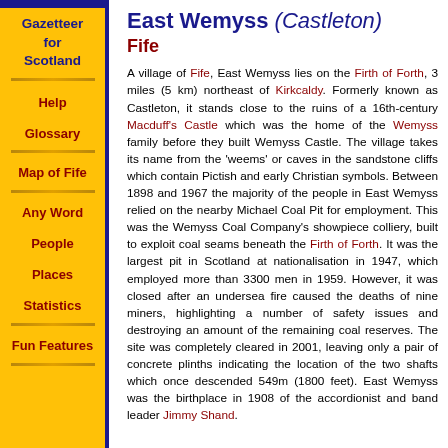Gazetteer for Scotland
Help
Glossary
Map of Fife
Any Word
People
Places
Statistics
Fun Features
East Wemyss (Castleton)
Fife
A village of Fife, East Wemyss lies on the Firth of Forth, 3 miles (5 km) northeast of Kirkcaldy. Formerly known as Castleton, it stands close to the ruins of a 16th-century Macduff's Castle which was the home of the Wemyss family before they built Wemyss Castle. The village takes its name from the 'weems' or caves in the sandstone cliffs which contain Pictish and early Christian symbols. Between 1898 and 1967 the majority of the people in East Wemyss relied on the nearby Michael Coal Pit for employment. This was the Wemyss Coal Company's showpiece colliery, built to exploit coal seams beneath the Firth of Forth. It was the largest pit in Scotland at nationalisation in 1947, which employed more than 3300 men in 1959. However, it was closed after an undersea fire caused the deaths of nine miners, highlighting a number of safety issues and destroying an amount of the remaining coal reserves. The site was completely cleared in 2001, leaving only a pair of concrete plinths indicating the location of the two shafts which once descended 549m (1800 feet). East Wemyss was the birthplace in 1908 of the accordionist and band leader Jimmy Shand.